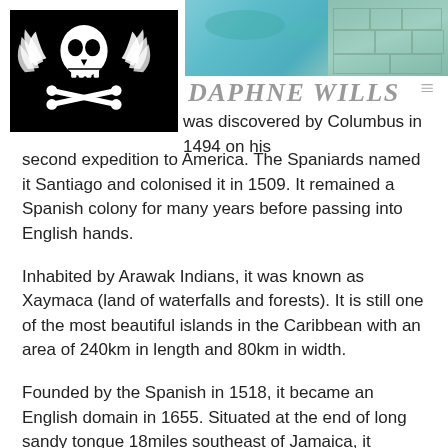DAPHNE WILLS
was discovered by Columbus in 1494 on his second expedition to America. The Spaniards named it Santiago and colonised it in 1509. It remained a Spanish colony for many years before passing into English hands.
Inhabited by Arawak Indians, it was known as Xaymaca (land of waterfalls and forests). It is still one of the most beautiful islands in the Caribbean with an area of 240km in length and 80km in width.
Founded by the Spanish in 1518, it became an English domain in 1655. Situated at the end of long sandy tongue 18miles southeast of Jamaica, it became the most important trading point in the Caribbean due to its strategic position on trade routes between America and Spain. When England patented Corso to attack enemy ships on the Caribbean most of these,